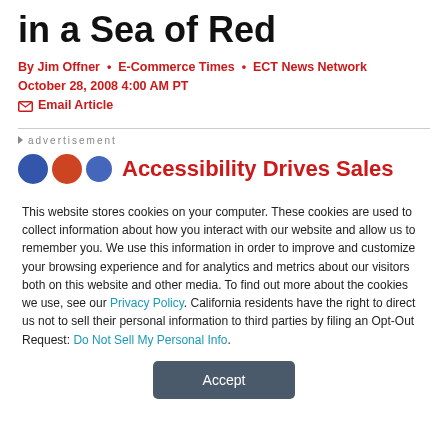in a Sea of Red
By Jim Offner • E-Commerce Times • ECT News Network
October 28, 2008 4:00 AM PT
✉ Email Article
▸ advertisement
[Figure (other): Advertisement banner with colored circles and text 'Accessibility Drives Sales']
This website stores cookies on your computer. These cookies are used to collect information about how you interact with our website and allow us to remember you. We use this information in order to improve and customize your browsing experience and for analytics and metrics about our visitors both on this website and other media. To find out more about the cookies we use, see our Privacy Policy. California residents have the right to direct us not to sell their personal information to third parties by filing an Opt-Out Request: Do Not Sell My Personal Info.
Accept